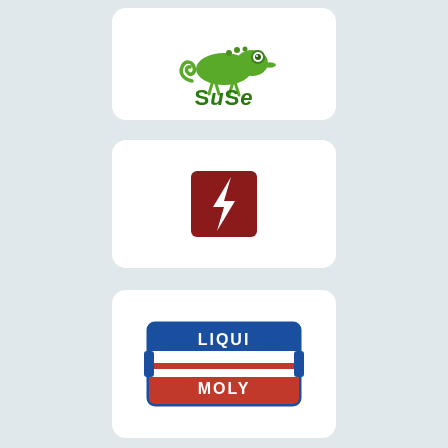[Figure (logo): SuSE Linux logo: green chameleon above stylized green 'SuSE' text]
[Figure (logo): Red square logo with white lightning bolt / S-shaped symbol]
[Figure (logo): Liqui Moly brand logo: blue and red rectangular badge with white 'LIQUI MOLY' text]